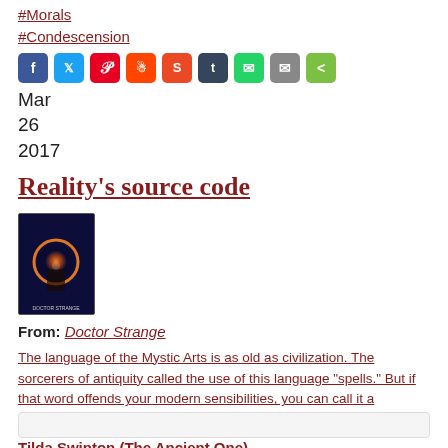#Morals
#Condescension
[Figure (infographic): Row of social media share icons: Facebook, Twitter, Pinterest, Reddit, StumbleUpon, Tumblr, WhatsApp, Email, ShareThis]
Mar
26
2017
Reality's source code
[Figure (photo): Doctor Strange movie poster/cover thumbnail showing a figure in a glowing circular portal against a dark blue background]
From: Doctor Strange
The language of the Mystic Arts is as old as civilization. The sorcerers of antiquity called the use of this language "spells." But if that word offends your modern sensibilities, you can call it a "program": the source code that shapes reality.
Tilda Swinton (The Ancient One)